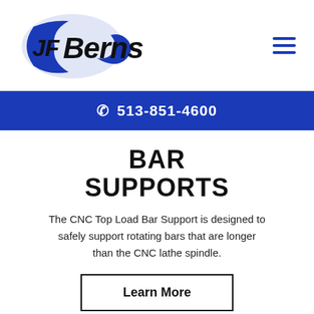[Figure (logo): JF Berns company logo with blue swoosh and bold italic text]
☰ (hamburger menu icon)
☎ 513-851-4600
BAR SUPPORTS
The CNC Top Load Bar Support is designed to safely support rotating bars that are longer than the CNC lathe spindle.
Learn More